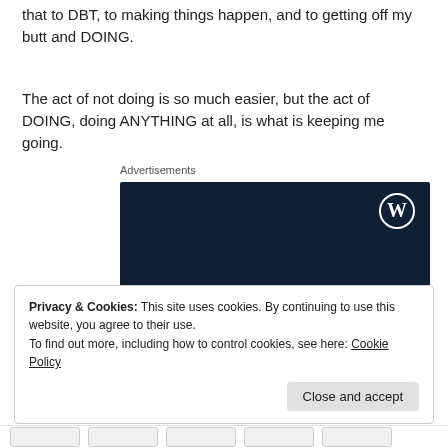that to DBT, to making things happen, and to getting off my butt and DOING.
The act of not doing is so much easier, but the act of DOING, doing ANYTHING at all, is what is keeping me going.
Advertisements
[Figure (illustration): WordPress advertisement banner with dark navy background, WordPress logo (W in circle) top right, text 'Opinions. We all have them!' in white serif font]
Privacy & Cookies: This site uses cookies. By continuing to use this website, you agree to their use.
To find out more, including how to control cookies, see here: Cookie Policy
Close and accept